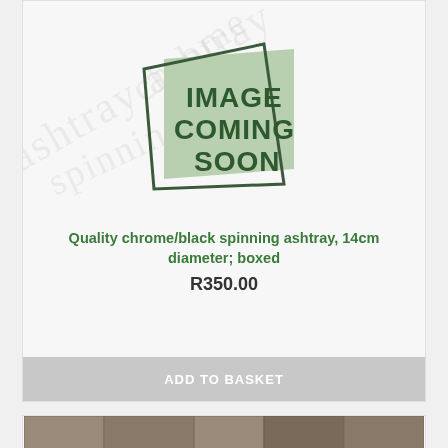[Figure (illustration): Image Coming Soon placeholder graphic: a parallelogram shape in light sage green with bold dark green text 'IMAGE COMING SOON' and a dark outlined square/rhombus frame overlapping it.]
Quality chrome/black spinning ashtray, 14cm diameter; boxed
R350.00
ADD TO BASKET
[Figure (photo): Photo of colorful rubber/silicone ashtrays (teal/turquoise and yellow) on a stone surface background.]